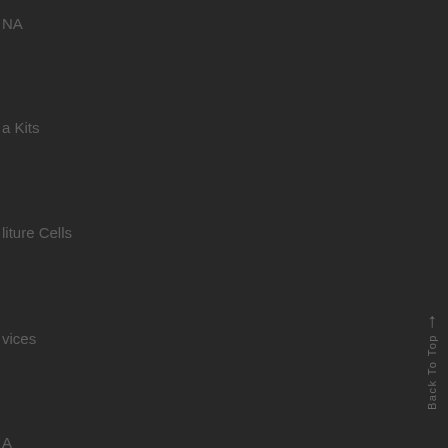NA
a Kits
liture Cells
vices
A
A Templates
A Testing
a Kits
zymes
uiprments
Back To Top